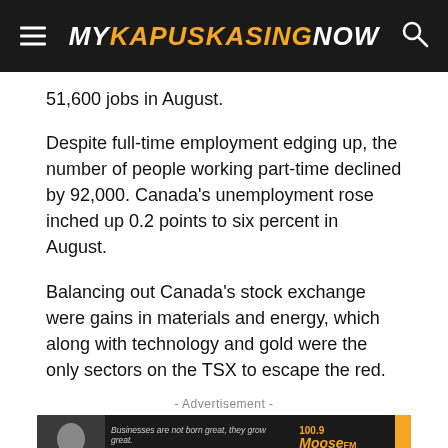MY KAPUSKASING NOW
51,600 jobs in August.
Despite full-time employment edging up, the number of people working part-time declined by 92,000. Canada’s unemployment rose inched up 0.2 points to six percent in August.
Balancing out Canada’s stock exchange were gains in materials and energy, which along with technology and gold were the only sectors on the TSX to escape the red.
- Advertisement -
[Figure (photo): Advertisement banner for Kathy Mercier, Account Executive at Moose FM 100.9 / MyKapuskasingNow, phone 705 335 1230]